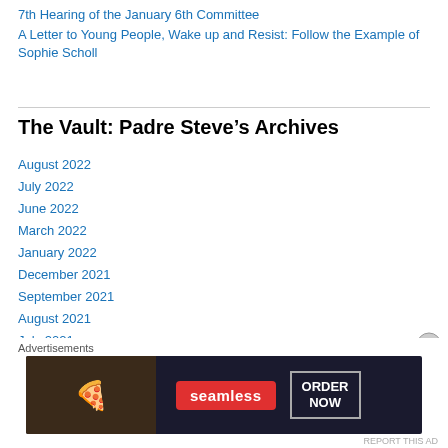7th Hearing of the January 6th Committee
A Letter to Young People, Wake up and Resist: Follow the Example of Sophie Scholl
The Vault: Padre Steve’s Archives
August 2022
July 2022
June 2022
March 2022
January 2022
December 2021
September 2021
August 2021
July 2021
[Figure (photo): Seamless food delivery advertisement banner with pizza image on dark background and ORDER NOW button]